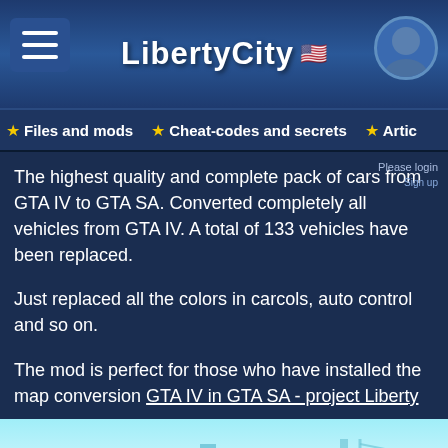LibertyCity
Files and mods | Cheat-codes and secrets | Artic
The highest quality and complete pack of cars from GTA IV to GTA SA. Converted completely all vehicles from GTA IV. A total of 133 vehicles have been replaced.
Just replaced all the colors in carcols, auto control and so on.
The mod is perfect for those who have installed the map conversion GTA IV in GTA SA - project Liberty
[Figure (screenshot): Screenshot from GTA SA showing vehicles on a road with cityscape background, two cars visible (white SUV and green car), with a play button overlay at the bottom]